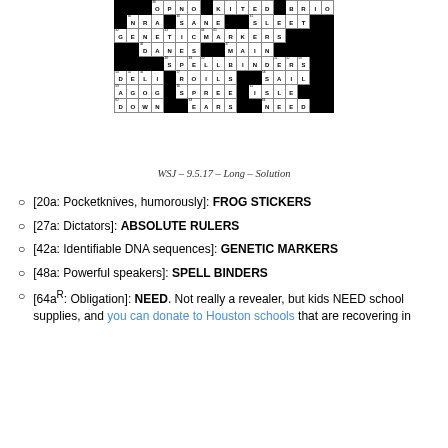[Figure (other): Crossword puzzle solution grid showing completed answers including GENETIC MARKERS, SPELLBINDERS, FROG STICKERS, ABSOLUTE RULERS, NEED, etc.]
WSJ – 9.5.17 – Long – Solution
[20a: Pocketknives, humorously]: FROG STICKERS
[27a: Dictators]: ABSOLUTE RULERS
[42a: Identifiable DNA sequences]: GENETIC MARKERS
[48a: Powerful speakers]: SPELL BINDERS
[64aR: Obligation]: NEED. Not really a revealer, but kids NEED school supplies, and you can donate to Houston schools that are recovering in